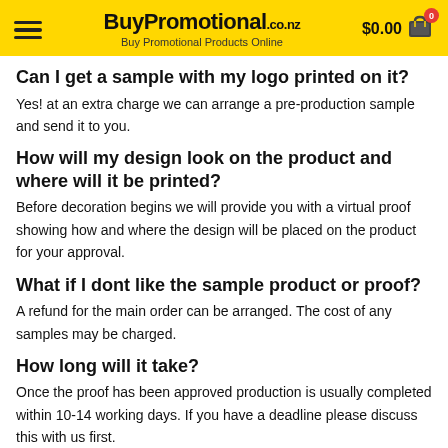BuyPromotional.co.nz — Buy Promotional Products Online
Can I get a sample with my logo printed on it?
Yes! at an extra charge we can arrange a pre-production sample and send it to you.
How will my design look on the product and where will it be printed?
Before decoration begins we will provide you with a virtual proof showing how and where the design will be placed on the product for your approval.
What if I dont like the sample product or proof?
A refund for the main order can be arranged. The cost of any samples may be charged.
How long will it take?
Once the proof has been approved production is usually completed within 10-14 working days. If you have a deadline please discuss this with us first.